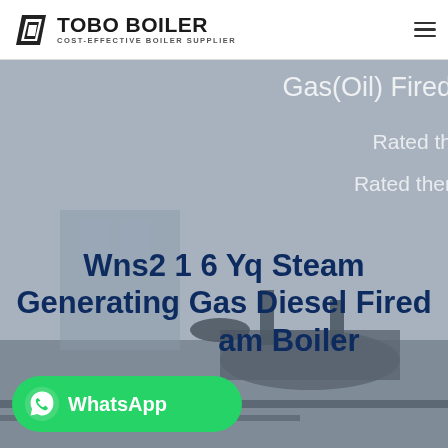[Figure (logo): TOBO BOILER logo with black geometric icon and text 'TOBO BOILER' with tagline 'COST-EFFECTIVE BOILER SUPPLIER']
[Figure (photo): Hero banner showing industrial boiler machinery with grey overlay. Partially visible text on right side reads 'Gas(Oil) Fired', 'Rated th', 'Rated ther'. Main white industrial boiler equipment visible in lower portion.]
Wns2 1 6 Yq Steam Generating Gas Diesel Fired am Boiler
[Figure (other): WhatsApp contact button in green with WhatsApp logo and text 'WhatsApp']